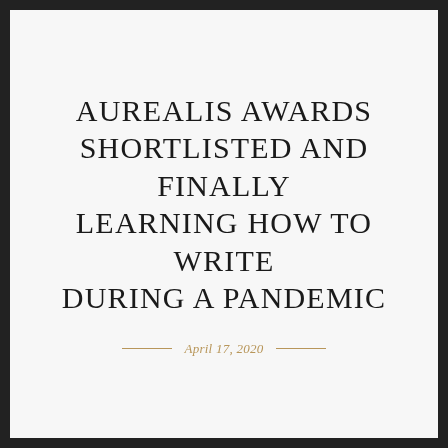AUREALIS AWARDS SHORTLISTED AND FINALLY LEARNING HOW TO WRITE DURING A PANDEMIC
April 17, 2020